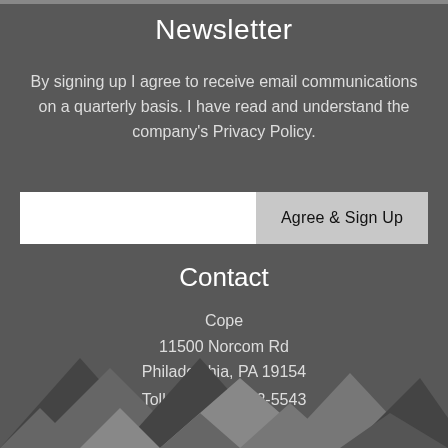Newsletter
By signing up I agree to receive email communications on a quarterly basis. I have read and understand the company's Privacy Policy.
Contact
Cope
11500 Norcom Rd
Philadelphia, PA 19154
Toll free: 800-882-5543
Local: 708-339-1610
[Figure (illustration): Decorative geometric triangles pattern in shades of gray at the bottom of the page]